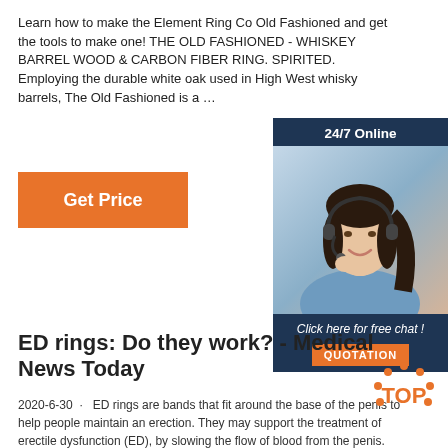Learn how to make the Element Ring Co Old Fashioned and get the tools to make one! THE OLD FASHIONED - WHISKEY BARREL WOOD & CARBON FIBER RING. SPIRITED. Employing the durable white oak used in High West whisky barrels, The Old Fashioned is a …
[Figure (illustration): Orange 'Get Price' button]
[Figure (photo): Customer service widget with dark blue background showing '24/7 Online', a woman with headset, 'Click here for free chat!', and orange QUOTATION button]
ED rings: Do they work? - Medical News Today
2020-6-30 · ED rings are bands that fit around the base of the penis to help people maintain an erection. They may support the treatment of erectile dysfunction (ED), by slowing the flow of blood from the penis.